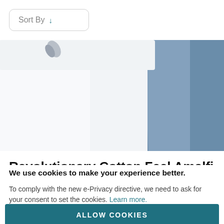Sort By ↓
[Figure (photo): Partial view of folded white and steel-blue fabric table runner on a table surface]
Revolutionary Cotton Feel Amalfi Table Runners
We use cookies to make your experience better.
To comply with the new e-Privacy directive, we need to ask for your consent to set the cookies. Learn more.
ALLOW COOKIES